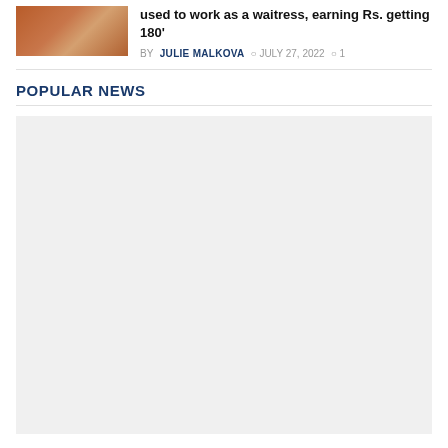[Figure (photo): Thumbnail image of a woman in traditional Indian attire (red/gold saree)]
used to work as a waitress, earning Rs. getting 180'
BY JULIE MALKOVA  JULY 27, 2022  1
POPULAR NEWS
[Figure (other): Advertisement or content placeholder block (light gray)]